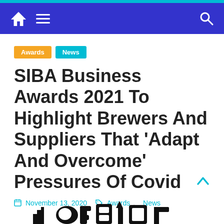Navigation bar with home icon, menu icon, and search icon
Awards
News
SIBA Business Awards 2021 To Highlight Brewers And Suppliers That 'Adapt And Overcome' Pressures Of Covid
November 13, 2020   Awards, News